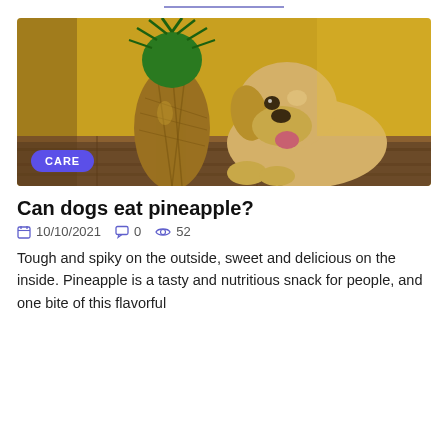[Figure (photo): A golden retriever puppy sitting next to a pineapple on a wooden surface with a yellow background. A 'CARE' badge overlaid in lower left corner.]
Can dogs eat pineapple?
10/10/2021   0   52
Tough and spiky on the outside, sweet and delicious on the inside. Pineapple is a tasty and nutritious snack for people, and one bite of this flavorful